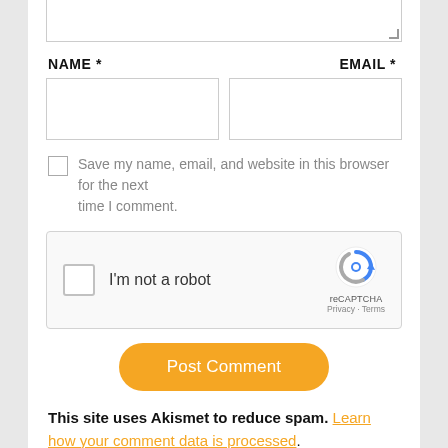[Figure (screenshot): Top portion of a comment form textarea (partially visible at top of page)]
NAME *
EMAIL *
[Figure (screenshot): Two text input fields side by side for Name and Email]
Save my name, email, and website in this browser for the next time I comment.
[Figure (screenshot): reCAPTCHA widget with checkbox 'I'm not a robot' and Google reCAPTCHA logo]
[Figure (screenshot): Post Comment button in orange/yellow rounded style]
This site uses Akismet to reduce spam. Learn how your comment data is processed.